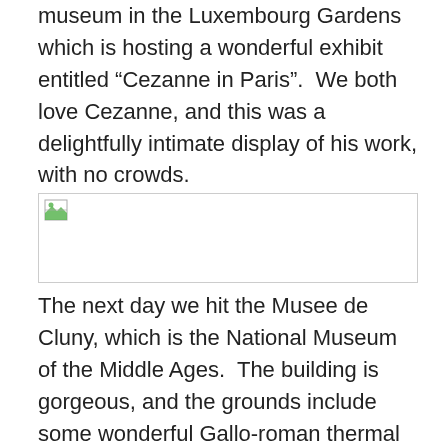museum in the Luxembourg Gardens which is hosting a wonderful exhibit entitled “Cezanne in Paris”.  We both love Cezanne, and this was a delightfully intimate display of his work, with no crowds.
[Figure (photo): Broken/missing image placeholder with a small image icon in the top-left corner and a border outline.]
The next day we hit the Musee de Cluny, which is the National Museum of the Middle Ages.  The building is gorgeous, and the grounds include some wonderful Gallo-roman thermal baths built around the first century.  The museum is home to an impressive collection of Medieval